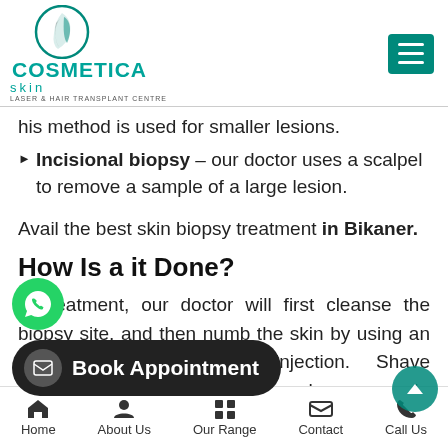COSMETICA skin LASER & HAIR TRANSPLANT CENTRE
...his method is used for smaller lesions.
Incisional biopsy – our doctor uses a scalpel to remove a sample of a large lesion.
Avail the best skin biopsy treatment in Bikaner.
How Is a it Done?
...is treatment, our doctor will first cleanse the ...sy site, and then numb the skin by using an anesthetic, pain-relieving injection. Shave biopsies ...cisions, whereas punch, excisional, and incisional biopsies will usually be closed with sutures or... rine.
Home | About Us | Our Range | Contact | Call Us